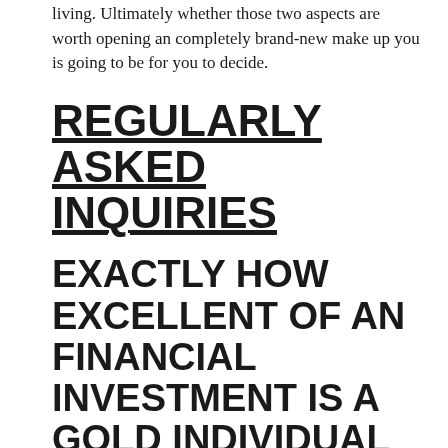living. Ultimately whether those two aspects are worth opening an completely brand-new make up you is going to be for you to decide.
REGULARLY ASKED INQUIRIES
EXACTLY HOW EXCELLENT OF AN FINANCIAL INVESTMENT IS A GOLD INDIVIDUAL RETIREMENT ACCOUNT
A gold Individual Retirement Account can be a terrific investment relying on your situations. If it looks like there is going to be a market downturn then the